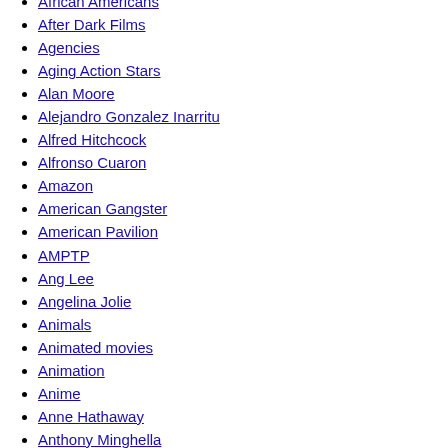African Americans
After Dark Films
Agencies
Aging Action Stars
Alan Moore
Alejandro Gonzalez Inarritu
Alfred Hitchcock
Alfronso Cuaron
Amazon
American Gangster
American Pavilion
AMPTP
Ang Lee
Angelina Jolie
Animals
Animated movies
Animation
Anime
Anne Hathaway
Anthony Minghella
Antoine Fuqua
Anvil
Apple
Apres Strike
Arnold Schwarzenegger